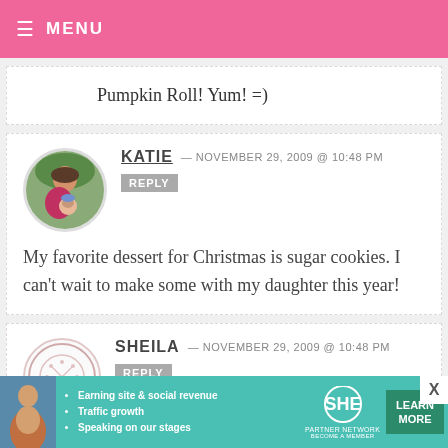MENU
Pumpkin Roll! Yum! =)
KATIE — NOVEMBER 29, 2009 @ 10:48 PM REPLY
My favorite dessert for Christmas is sugar cookies. I can't wait to make some with my daughter this year!
SHEILA — NOVEMBER 29, 2009 @ 10:48 PM REPLY
[Figure (infographic): SHE Partner Network advertisement banner with teal background, showing bullet points: Earning site & social revenue, Traffic growth, Speaking on our stages]